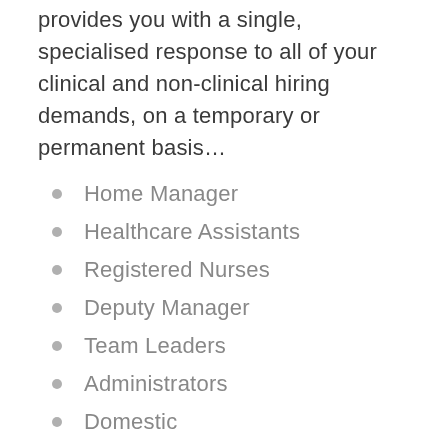provides you with a single, specialised response to all of your clinical and non-clinical hiring demands, on a temporary or permanent basis…
Home Manager
Healthcare Assistants
Registered Nurses
Deputy Manager
Team Leaders
Administrators
Domestic
Kitchen